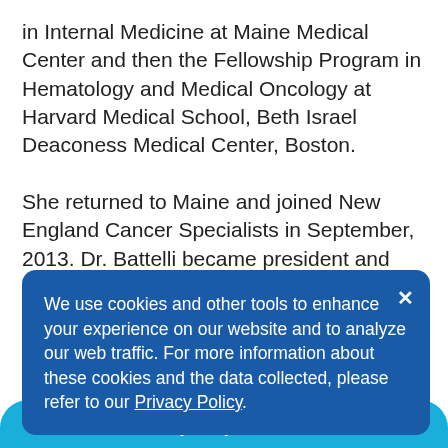in Internal Medicine at Maine Medical Center and then the Fellowship Program in Hematology and Medical Oncology at Harvard Medical School, Beth Israel Deaconess Medical Center, Boston.

She returned to Maine and joined New England Cancer Specialists in September, 2013. Dr. Battelli became president and lead physician of the practice in 2018. Her practice focuses on the treatment of breast cancer. She is particularly interested in clinical and translational research, quality improvement and medical education. In her spare time, Dr. Battelli loves her family, her friends and two golden retrievers. She loves to travel the world to experience different cultures and their food.
We use cookies and other tools to enhance your experience on our website and to analyze our web traffic. For more information about these cookies and the data collected, please refer to our Privacy Policy.
CALL (207) 303-3300